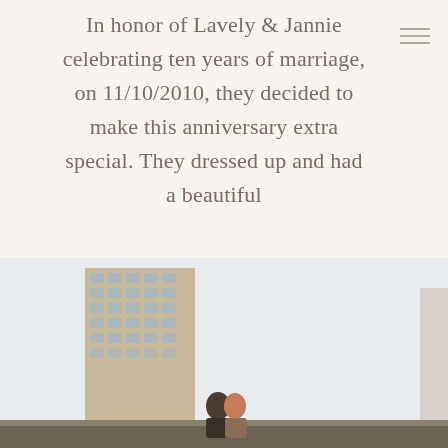In honor of Lavely & Jannie celebrating ten years of marriage, on 11/10/2010, they decided to make this anniversary extra special. They dressed up and had a beautiful
READ THE POST
[Figure (photo): Couple kissing on a rooftop or elevated walkway with city buildings in the background; urban skyline visible including tall residential and office towers]